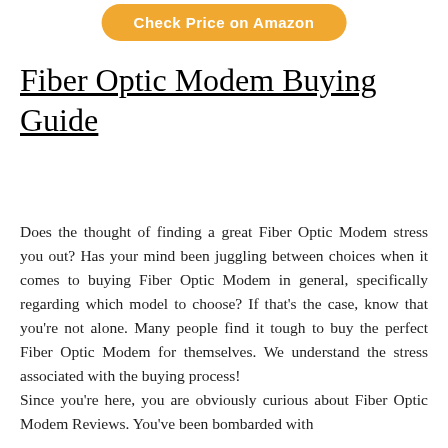[Figure (other): Orange rounded button labeled 'Check Price on Amazon']
Fiber Optic Modem Buying Guide
Does the thought of finding a great Fiber Optic Modem stress you out? Has your mind been juggling between choices when it comes to buying Fiber Optic Modem in general, specifically regarding which model to choose? If that's the case, know that you're not alone. Many people find it tough to buy the perfect Fiber Optic Modem for themselves. We understand the stress associated with the buying process! Since you're here, you are obviously curious about Fiber Optic Modem Reviews. You've been bombarded with